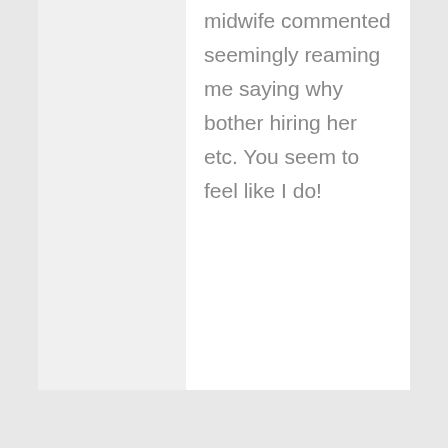midwife commented seemingly reaming me saying why bother hiring her etc. You seem to feel like I do!
Brittany H
February 15, 2012 at 12:26 pm
Reply
Your kids are adorable! Great post.
[Figure (illustration): Brittany H avatar - illustrated girl with pink/mauve hat and britt stitch logo]
Maria
[Figure (photo): Maria avatar - partial circular photo of person]
[Figure (other): Back to top button with upward chevron arrow on dark gray background]